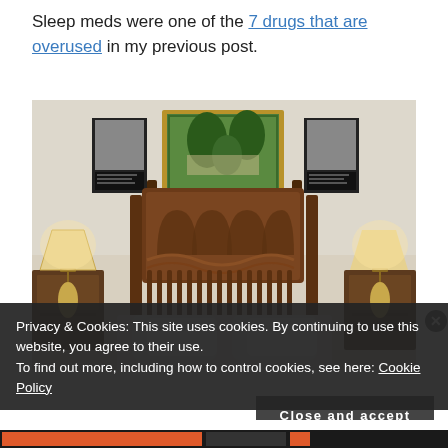Sleep meds were one of the 7 drugs that are overused in my previous post.
[Figure (photo): A bedroom with an ornate dark wood four-poster bed with intricate carved headboard, white pillows and bedding, two nightstands with pineapple-shaped lamps, and a painting above the bed. Two framed pictures hang on the wall on either side.]
Privacy & Cookies: This site uses cookies. By continuing to use this website, you agree to their use.
To find out more, including how to control cookies, see here: Cookie Policy
Close and accept